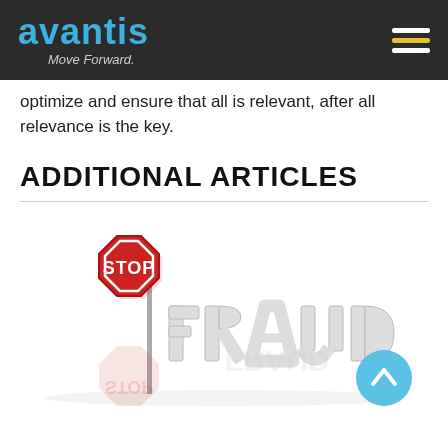avantis — Move Forward.
optimize and ensure that all is relevant, after all relevance is the key.
ADDITIONAL ARTICLES
[Figure (illustration): A red octagonal STOP sign on a pole next to large 3D white block letters spelling FRAUD, with a reflection on a white surface. A blue circular back-to-top button appears in the bottom right corner.]